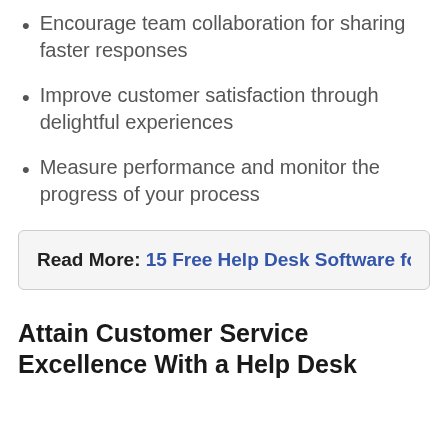Encourage team collaboration for sharing faster responses
Improve customer satisfaction through delightful experiences
Measure performance and monitor the progress of your process
Read More: 15 Free Help Desk Software for 2022 (R…
Attain Customer Service Excellence With a Help Desk